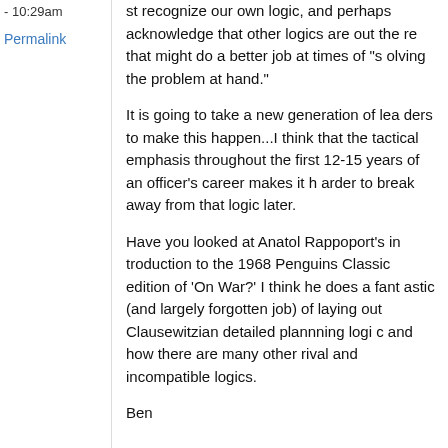- 10:29am
Permalink
st recognize our own logic, and perhaps acknowledge that other logics are out there that might do a better job at times of "solving the problem at hand."
It is going to take a new generation of leaders to make this happen...I think that the tactical emphasis throughout the first 12-15 years of an officer's career makes it harder to break away from that logic later.
Have you looked at Anatol Rappoport's introduction to the 1968 Penguins Classic edition of 'On War?' I think he does a fantastic (and largely forgotten job) of laying out Clausewitzian detailed plannning logic and how there are many other rival and incompatible logics.
Ben